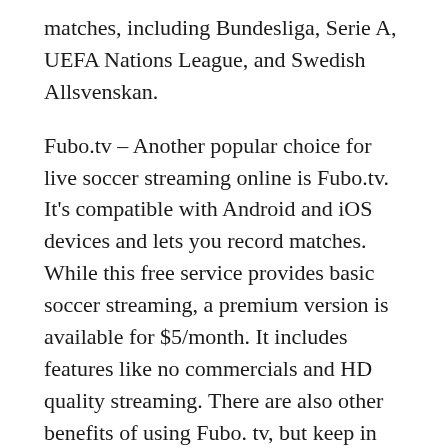matches, including Bundesliga, Serie A, UEFA Nations League, and Swedish Allsvenskan.
Fubo.tv – Another popular choice for live soccer streaming online is Fubo.tv. It's compatible with Android and iOS devices and lets you record matches. While this free service provides basic soccer streaming, a premium version is available for $5/month. It includes features like no commercials and HD quality streaming. There are also other benefits of using Fubo. tv, but keep in mind that you have to sign up for their feeds before you can access them.
Soccer TV – Probably the most popular free live streaming service for football, this site offers links to matches and tournaments from all over the world. It also offers information about upcoming matches and tournaments. It can be used on mobile